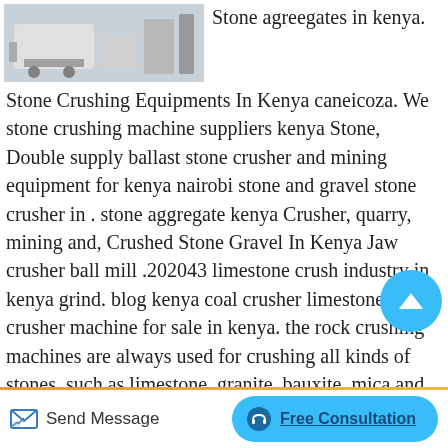[Figure (photo): Industrial stone crushing equipment on a factory floor]
Stone agreegates in kenya.
Stone Crushing Equipments In Kenya caneicoza. We stone crushing machine suppliers kenya Stone, Double supply ballast stone crusher and mining equipment for kenya nairobi stone and gravel stone crusher in . stone aggregate kenya Crusher, quarry, mining and, Crushed Stone Gravel In Kenya Jaw crusher ball mill .202043 limestone crush industry in kenya grind. blog kenya coal crusher limestone. stone crusher machine for sale in kenya. the rock crushing machines are always used for crushing all kinds of stones, such as limestone, granite, bauxite, mica and so the actual rock mining plant inkenya,thestone crusher
Send Message
Free Consultation